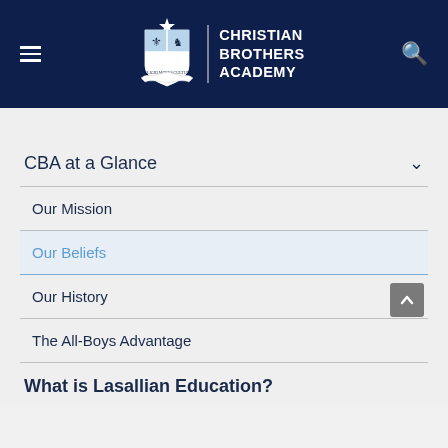[Figure (logo): Christian Brothers Academy shield crest logo with star on top, blue and white shield design]
CHRISTIAN BROTHERS ACADEMY
CBA at a Glance
Our Mission
Our Beliefs
Our History
The All-Boys Advantage
What is Lasallian Education?